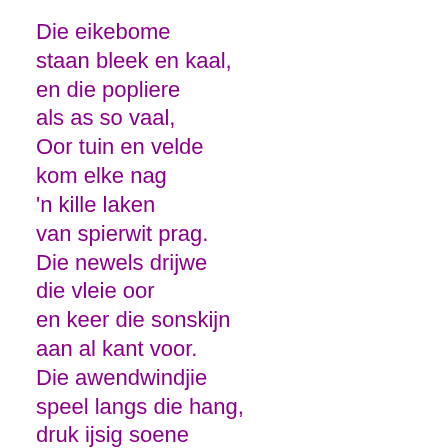Die eikebome
staan bleek en kaal,
en die popliere
als as so vaal,
Oor tuin en velde
kom elke nag
'n kille laken
van spierwit prag.
Die newels drijwe
die vleie oor
en keer die sonskijn
aan al kant voor.
Die awendwindjie
speel langs die hang,
druk ijsig soene
op elke wang.